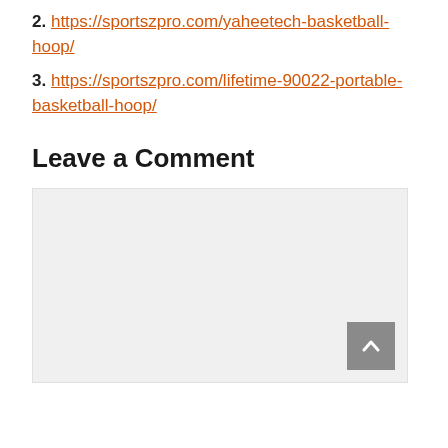2. https://sportszpro.com/yaheetech-basketball-hoop/
3. https://sportszpro.com/lifetime-90022-portable-basketball-hoop/
Leave a Comment
[Figure (other): Empty comment text area input box with a scroll-to-top button in the bottom right corner]